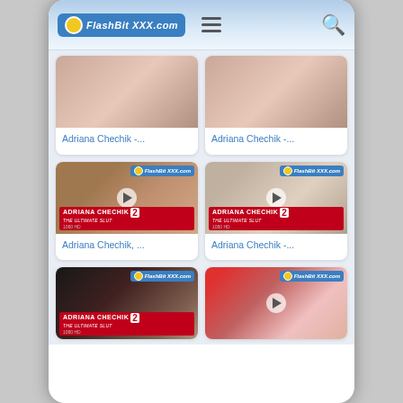FlashBitXXX.com
[Figure (screenshot): Video thumbnail 1 - Adriana Chechik]
Adriana Chechik -...
[Figure (screenshot): Video thumbnail 2 - Adriana Chechik]
Adriana Chechik -...
[Figure (screenshot): Video thumbnail 3 - Adriana Chechik, Ultimate Slut 2]
Adriana Chechik, ...
[Figure (screenshot): Video thumbnail 4 - Adriana Chechik, Ultimate Slut 2]
Adriana Chechik -...
[Figure (screenshot): Video thumbnail 5 - Adriana Chechik, The Ultimate Slut 2]
[Figure (screenshot): Video thumbnail 6 - Adriana Chechik]